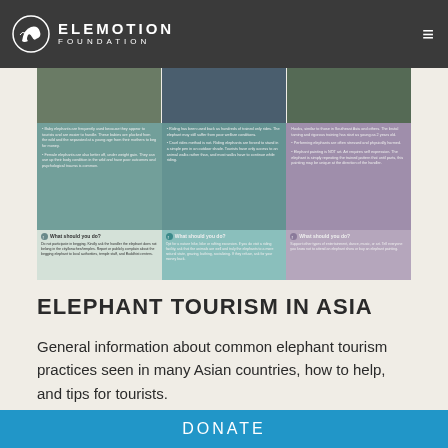ELEMOTION FOUNDATION
[Figure (infographic): Infographic about elephant tourism in Asia with three columns showing problems and what tourists should do, with photo strip at top]
ELEPHANT TOURISM IN ASIA
General information about common elephant tourism practices seen in many Asian countries, how to help, and tips for tourists.
Contact Us For Use...
DONATE